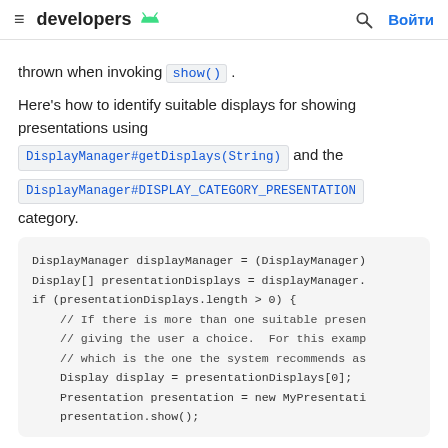≡ developers [android] 🔍 Войти
thrown when invoking show() .
Here's how to identify suitable displays for showing presentations using DisplayManager#getDisplays(String) and the DisplayManager#DISPLAY_CATEGORY_PRESENTATION category.
[Figure (screenshot): Code block showing Java code for DisplayManager usage with presentationDisplays]
DisplayManager displayManager = (DisplayManager)
Display[] presentationDisplays = displayManager.
if (presentationDisplays.length > 0) {
    // If there is more than one suitable presen
    // giving the user a choice.  For this examp
    // which is the one the system recommends as
    Display display = presentationDisplays[0];
    Presentation presentation = new MyPresentati
    presentation.show();